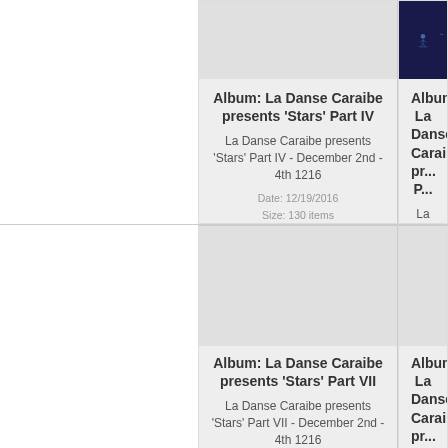[Figure (photo): Gray placeholder thumbnail for album La Danse Caraibe presents Stars Part IV]
Album: La Danse Caraibe presents 'Stars' Part IV
La Danse Caraibe presents 'Stars' Part IV - December 2nd - 4th 1216
Date: 12/19/2016
Size: 130 items
Views: 2432
[Figure (photo): Dark blue photo of dancer on stage with blue lighting, partial view cropped]
Album: La Danse Caraibe presents ... P...
La Danse Caraibe presents 'Stars' Part V ... 4th...
Date: ...
Size: ...
Views: ...
[Figure (photo): Gray placeholder thumbnail for album La Danse Caraibe presents Stars Part VII]
Album: La Danse Caraibe presents 'Stars' Part VII
La Danse Caraibe presents 'Stars' Part VII - December 2nd - 4th 1216
[Figure (photo): Gray placeholder thumbnail for partial album card on right side]
Album: La Danse Caraibe presents ... Pa...
La Danse Caraibe presents 'Stars' Part VII ... - 4th...